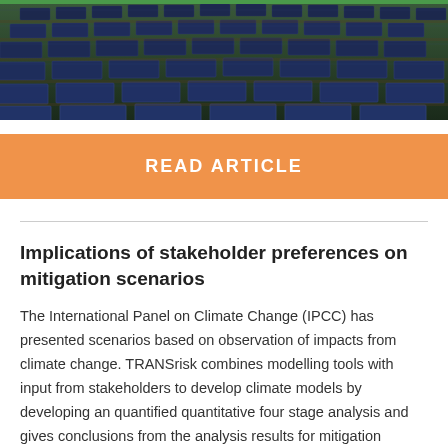[Figure (photo): Aerial view of solar panels arranged in rows, dark blue/grey tones, overhead perspective]
READ ARTICLE
Implications of stakeholder preferences on mitigation scenarios
The International Panel on Climate Change (IPCC) has presented scenarios based on observation of impacts from climate change. TRANSrisk combines modelling tools with input from stakeholders to develop climate models by developing an quantified quantitative four stage analysis and gives conclusions from the analysis results for mitigation scenarios.